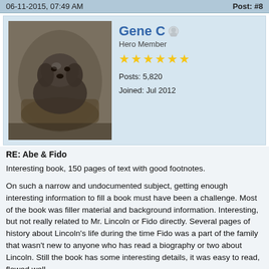06-11-2015, 07:49 AM    Post: #8
[Figure (photo): Black and white photo of a dog in a basket or container]
Gene C  Hero Member  Posts: 5,820  Joined: Jul 2012
RE: Abe & Fido
Interesting book, 150 pages of text with good footnotes.
On such a narrow and undocumented subject, getting enough interesting information to fill a book must have been a challenge. Most of the book was filler material and background information. Interesting, but not really related to Mr. Lincoln or Fido directly. Several pages of history about Lincoln's life during the time Fido was a part of the family that wasn't new to anyone who has read a biography or two about Lincoln. Still the book has some interesting details, it was easy to read, flowed well.
It compares favorably with "Lincoln's Animal Friends" by Ruth Painter Randall, written in 1958, which is a book designed more for young people. Her book is stories and narratives, not limited to Fido. Mr. Algeo's book, written for an older age group, is more documented with historical references, and also not limited to Fido. Different approaches to the subject, different writing styles.